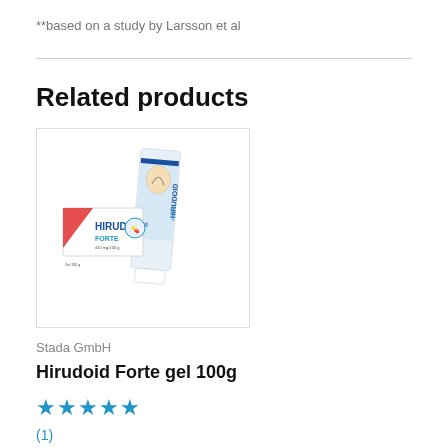**based on a study by Larsson et al
Related products
[Figure (photo): Product photo of Hirudoid Forte gel 100g showing a white tube and box packaging with red and blue Hirudoid Forte branding and an illustration of a knee/elbow joint on the tube]
Stada GmbH
Hirudoid Forte gel 100g
★★★★★
(1)